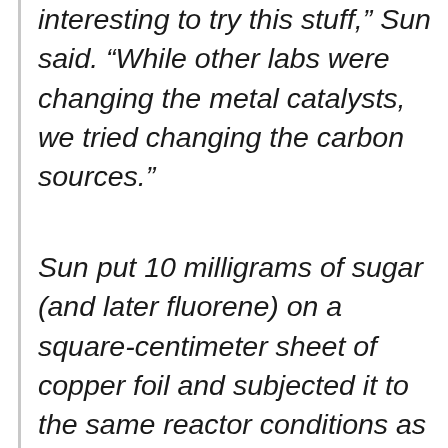interesting to try this stuff," Sun said. "While other labs were changing the metal catalysts, we tried changing the carbon sources."
Sun put 10 milligrams of sugar (and later fluorene) on a square-centimeter sheet of copper foil and subjected it to the same reactor conditions as the PMMA. It was quickly transformed into single-layer graphene. Sun had expected defects in the final product, given the chemical